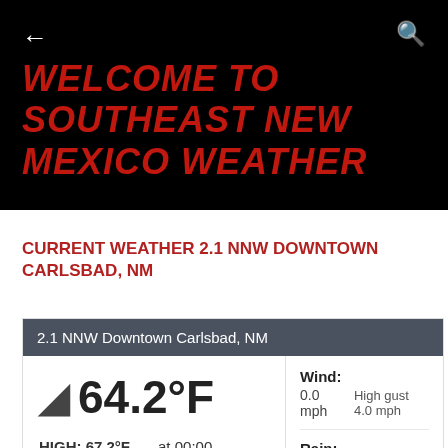← (back arrow)  🔍 (search icon)
WELCOME TO SOUTHEAST NEW MEXICO WEATHER
CURRENT WEATHER 2.1 NNW DOWNTOWN CARLSBAD, NM
| 2.1 NNW Downtown Carlsbad, NM |
| --- |
| ☾ 64.2°F | Wind: |  |
|  | 0.0 mph | High gust 4.0 mph |
| HIGH: 67.2°F | at 00:00 |  |
|  | Rain: |  |
|  | 0.00 in | Season Total 7.5 |